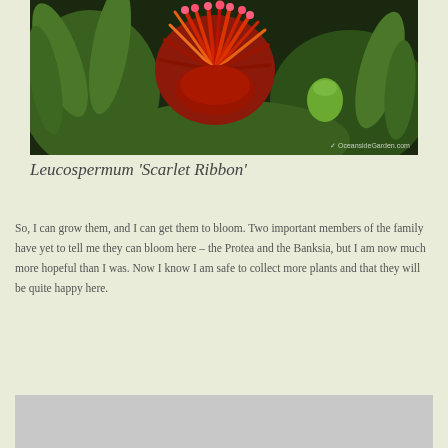[Figure (photo): Close-up photograph of Leucospermum 'Scarlet Ribbon' flowers with spiky red-orange protea blooms and green leaves. Watermark 'OceansideGarden.com' in lower right corner.]
Leucospermum 'Scarlet Ribbon'
So, I can grow them, and I can get them to bloom. Two important members of the family have yet to tell me they can bloom here – the Protea and the Banksia, but I am now much more hopeful than I was. Now I know I am safe to collect more plants and that they will be quite happy here.
[Figure (photo): Partially visible photo at bottom of page, showing a light gray/silver colored image.]